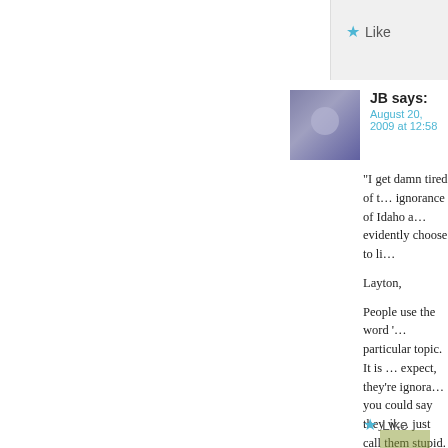Like
JB says:
August 20, 2009 at 12:58
“I get damn tired of t… ignorance of Idaho a… evidently choose to li…

Layton,

People use the word ‘… particular topic. It is … expect, they’re ignora… you could say they w… just call them stupid.

In this case, I’m happ… a fair proportion of th… environmental issues.
Like